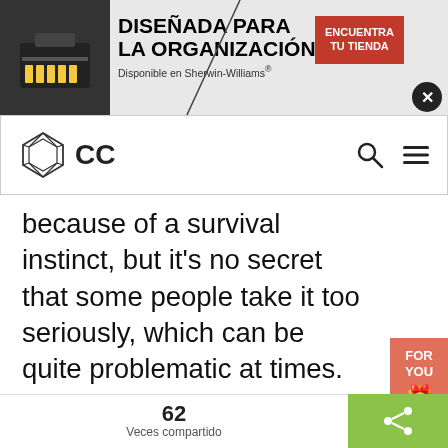[Figure (screenshot): Advertisement banner: toolbox image on left, text 'DISEÑADA PARA LA ORGANIZACIÓN. Disponible en Sherwin-Williams®' in center, red button 'ENCUENTRA TU TIENDA' on right, close X button]
[Figure (screenshot): Navigation bar with CC logo (geometric polyhedron icon) on left, search and hamburger menu icons on right]
because of a survival instinct, but it's no secret that some people take it too seriously, which can be quite problematic at times. There's a general belief stating that competitiveness is the key to success. Since
we're very young we're taught and encouraged to engage in the ... good as skills or abilities ... might be the optimal ... when should we stop competing?
[Figure (screenshot): Cookie consent overlay with text 'We use our own and third-party cookies to personalize and improve the and experience of our users on our website.' and teal AGREE button]
[Figure (screenshot): FOR YOU tab on right side with gift icon, and 0.02 counter badge]
[Figure (screenshot): Bottom bar showing 62 Veces compartido (times shared) on left and green share button on right]